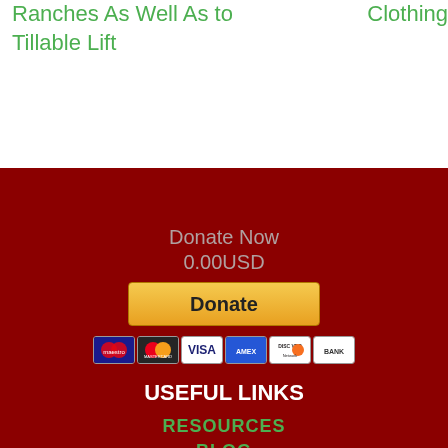Ranches As Well As to Tillable Lift
Clothing
Donate Now
0.00USD
[Figure (other): Donate button with PayPal-style gold button and payment card icons (Maestro, MasterCard, Visa, Amex, Discover, Bank)]
USEFUL LINKS
RESOURCES
BLOG